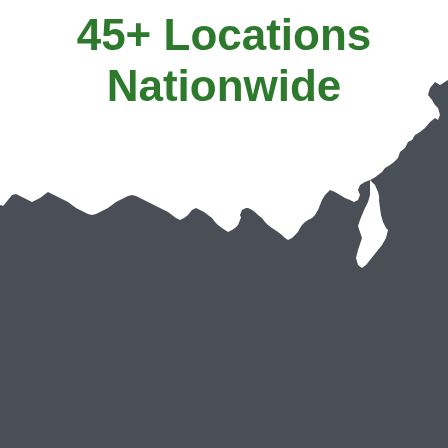[Figure (map): Silhouette of the contiguous United States (lower 48 states) in white/light color against a dark gray (#4a4e57) background. The map is cropped so only the upper portion of the US map is visible, showing the country's shape. The text '45+ Locations Nationwide' in bold green is overlaid on the white portion of the map.]
45+ Locations Nationwide